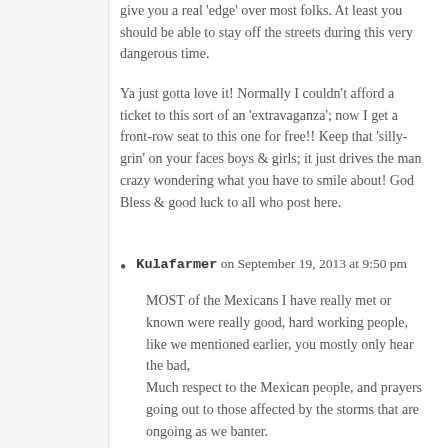give you a real 'edge' over most folks. At least you should be able to stay off the streets during this very dangerous time.
Ya just gotta love it! Normally I couldn't afford a ticket to this sort of an 'extravaganza'; now I get a front-row seat to this one for free!! Keep that 'silly-grin' on your faces boys & girls; it just drives the man crazy wondering what you have to smile about! God Bless & good luck to all who post here.
Kulafarmer on September 19, 2013 at 9:50 pm
MOST of the Mexicans I have really met or known were really good, hard working people, like we mentioned earlier, you mostly only hear the bad,
Much respect to the Mexican people, and prayers going out to those affected by the storms that are ongoing as we banter.